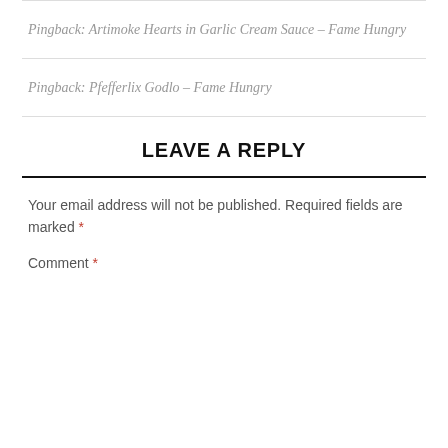Pingback: Artimoke Hearts in Garlic Cream Sauce – Fame Hungry
Pingback: Pfefferlix Godlo – Fame Hungry
LEAVE A REPLY
Your email address will not be published. Required fields are marked *
Comment *